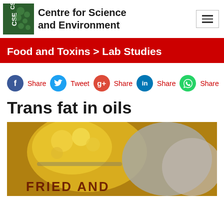Centre for Science and Environment
Food and Toxins > Lab Studies
Share  Tweet  Share  Share  Share
Trans fat in oils
[Figure (photo): Close-up photo of food being fried in hot oil, with text 'FRIED AND' visible]